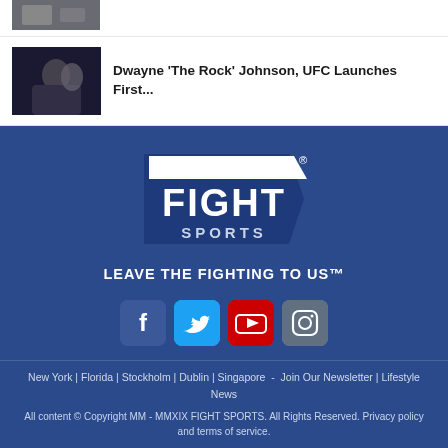[Figure (photo): Partial top image of article thumbnail cropped at top]
[Figure (photo): Photo of Dwayne The Rock Johnson with UFC fighter]
Dwayne ‘The Rock’ Johnson, UFC Launches First...
[Figure (logo): Fight Sports logo - white chevron/banner shape with FIGHT SPORTS text on blue background]
LEAVE THE FIGHTING TO US™
[Figure (infographic): Social media icons: Facebook, Twitter, YouTube, Instagram]
New York | Florida | Stockholm | Dublin | Singapore  -  Join Our Newsletter | Lifestyle News
All content © Copyright MM - MMXIX FIGHT SPORTS. All Rights Reserved. Privacy policy and terms of service.